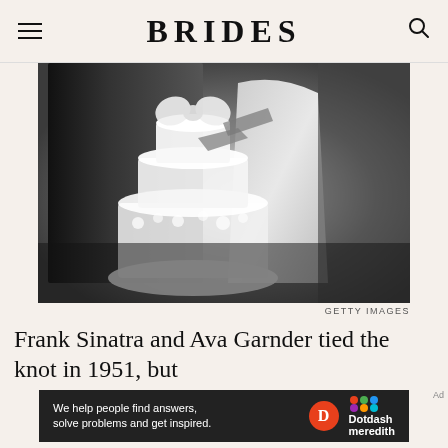BRIDES
[Figure (photo): Black and white photograph of a couple cutting a tiered wedding cake decorated with floral ornaments and a bow topper. The woman wears a short dress and the man is in a dark suit. Only their torsos and hands are visible.]
GETTY IMAGES
Frank Sinatra and Ava Garnder tied the knot in 1951, but
[Figure (infographic): Dotdash Meredith advertisement banner with dark background. Text reads: We help people find answers, solve problems and get inspired. Features Dotdash D logo in orange circle and Dotdash meredith logo with colorful dots.]